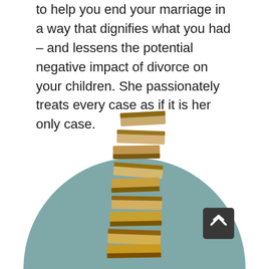to help you end your marriage in a way that dignifies what you had – and lessens the potential negative impact of divorce on your children. She passionately treats every case as if it is her only case.
[Figure (photo): A stack of wooden Jenga-style blocks balancing in a tower, photographed against a muted teal/blue-grey circular background. The image is cropped so only the upper half of the circle is visible at the bottom of the page.]